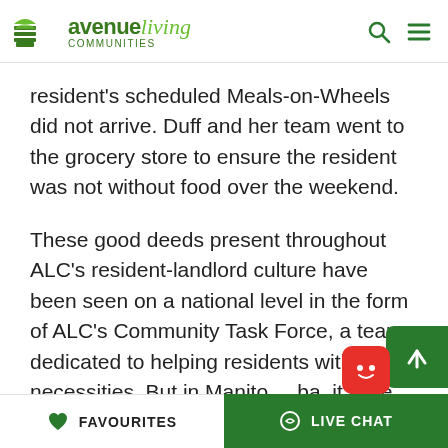Avenue Living communities
resident's scheduled Meals-on-Wheels did not arrive. Duff and her team went to the grocery store to ensure the resident was not without food over the weekend.
These good deeds present throughout ALC's resident-landlord culture have been seen on a national level in the form of ALC's Community Task Force, a team dedicated to helping residents with daily necessities. But in Manitoba, it's the teamwork that really solidifies these ideals.